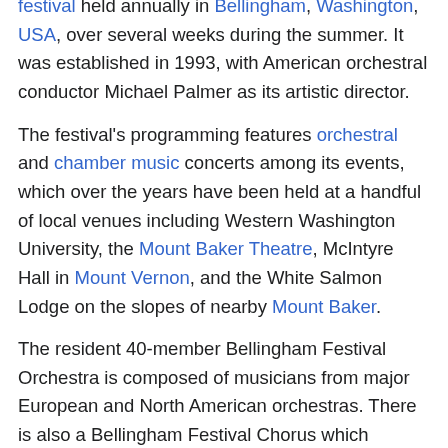festival held annually in Bellingham, Washington, USA, over several weeks during the summer. It was established in 1993, with American orchestral conductor Michael Palmer as its artistic director.
The festival's programming features orchestral and chamber music concerts among its events, which over the years have been held at a handful of local venues including Western Washington University, the Mount Baker Theatre, McIntyre Hall in Mount Vernon, and the White Salmon Lodge on the slopes of nearby Mount Baker.
The resident 40-member Bellingham Festival Orchestra is composed of musicians from major European and North American orchestras. There is also a Bellingham Festival Chorus which performs with the orchestra on occasion, composed of singers from surrounding Whatcom, Snohomish and Skagit counties who are selected by audition and...